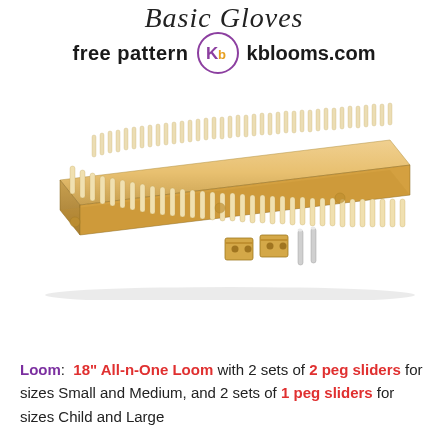Basic Gloves
free pattern  kblooms.com
[Figure (photo): A wooden 18-inch All-n-One knitting loom with two rows of pegs along its length, shown at an angle. In front of it are two small wooden peg slider blocks and two metal pegs/pins.]
Loom: 18" All-n-One Loom with 2 sets of 2 peg sliders for sizes Small and Medium, and 2 sets of 1 peg sliders for sizes Child and Large